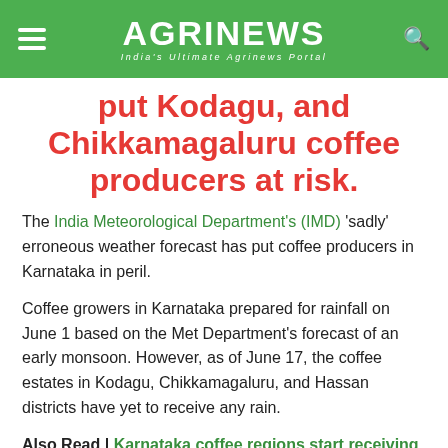AGRINEWS — India's Ultimate Agrinews Portal
put Kodagu, and Chikkamagaluru coffee producers at risk.
The India Meteorological Department's (IMD) 'sadly' erroneous weather forecast has put coffee producers in Karnataka in peril.
Coffee growers in Karnataka prepared for rainfall on June 1 based on the Met Department's forecast of an early monsoon. However, as of June 17, the coffee estates in Kodagu, Chikkamagaluru, and Hassan districts have yet to receive any rain.
Also Read | Karnataka coffee regions start receiving pre-monsoon nicknamed 'blossom showers'.